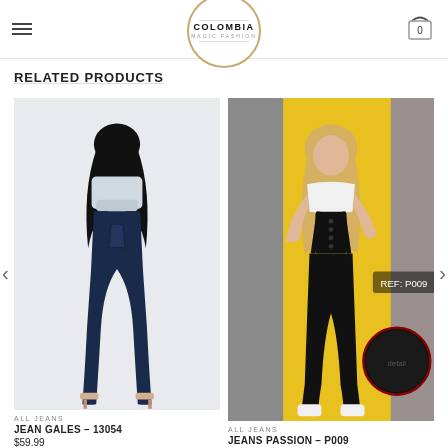Colombia Magic Fashion — Navigation header with logo and cart
RELATED PRODUCTS
[Figure (photo): Woman wearing dark blue skinny jeans with white crop top, viewed from behind, posing with heels — product photo for Jean Gales 13054]
[Figure (photo): Woman wearing black denim overalls/suspender jeans with white crop top and white sneakers, product reference P009 — product photo for Jeans Passion P009]
ALL JEANS
JEAN GALES – 13054
$59.99
ALL JEANS
JEANS PASSION – P009